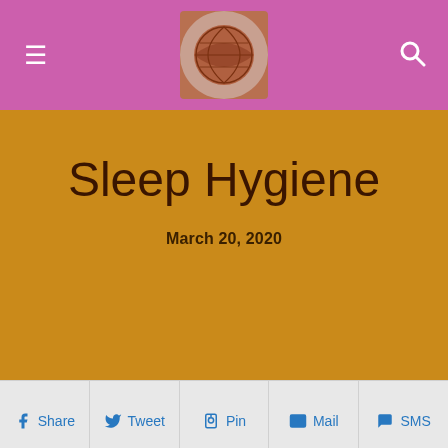≡  [logo]  🔍
March 20, 2020
Sleep Hygiene
f Share  Tweet  Pin  Mail  SMS